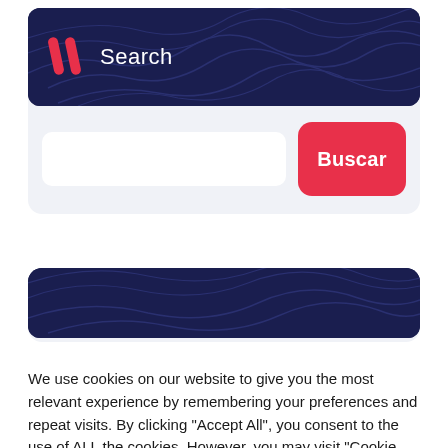[Figure (screenshot): Search widget card with dark navy header containing a red double-slash logo and 'Search' text, below which is a white input field and a red 'Buscar' button]
[Figure (screenshot): Partial second card with dark navy header visible, showing topographic line pattern]
We use cookies on our website to give you the most relevant experience by remembering your preferences and repeat visits. By clicking "Accept All", you consent to the use of ALL the cookies. However, you may visit "Cookie Settings" to provide a controlled consent.
Cookie Settings
Accept All